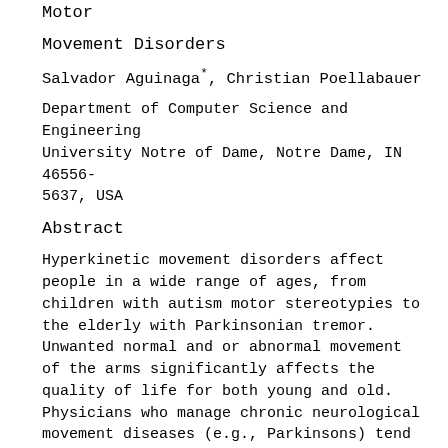Motor
Movement Disorders
Salvador Aguinaga*, Christian Poellabauer
Department of Computer Science and Engineering University Notre of Dame, Notre Dame, IN 46556-5637, USA
Abstract
Hyperkinetic movement disorders affect people in a wide range of ages, from children with autism motor stereotypies to the elderly with Parkinsonian tremor. Unwanted normal and or abnormal movement of the arms significantly affects the quality of life for both young and old. Physicians who manage chronic neurological movement diseases (e.g., Parkinsons) tend to make many decisions based on subjective information without access to objective data that can be difficult to routinely obtain. Assessment information is obtained today by tests characterized as pencil-and-paper tests and from observations that classify behavior of motor response or reaction time. Other